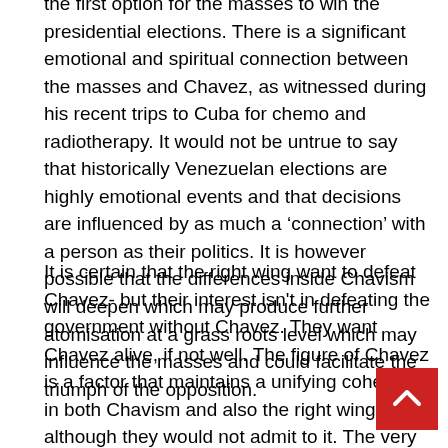the first option for the masses to win the presidential elections. There is a significant emotional and spiritual connection between the masses and Chavez, as witnessed during his recent trips to Cuba for chemo and radiotherapy. It would not be untrue to say that historically Venezuelan elections are highly emotional events and that decisions are influenced by as much a ‘connection’ with a person as their politics. It is however possible that the differences inside Chavism will deepen which may produce further atomisation at a grass roots level which may influence the masses and could facilitate the triumph of the opposition.
It is certain that the right wing want to defeat Chavez- but their interest isn't in defeating the government without Chavez. They want Chavez alive, if not well. The figure of Chavez is a factor that maintains a unifying cohesion in both Chavism and also the right wing – although they would not admit to it. The very unity of the MUD revolves around Chavez and his defeat. Without him it would be difficult for the right wing to combine in a coalition – their own differences would tear it apart.